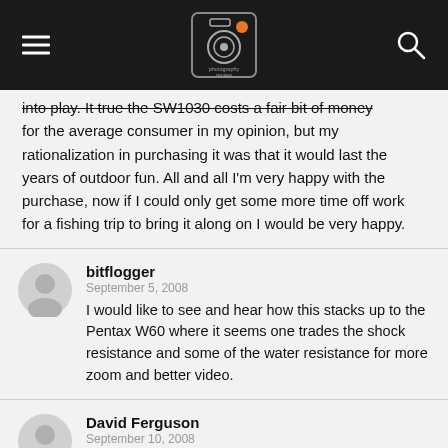Photography Review navigation header with hamburger menu, logo, and search icon
into play. It true the SW1030 costs a fair bit of money for the average consumer in my opinion, but my rationalization in purchasing it was that it would last the years of outdoor fun. All and all I'm very happy with the purchase, now if I could only get some more time off work for a fishing trip to bring it along on I would be very happy.
bitflogger
September 5, 2008
I would like to see and hear how this stacks up to the Pentax W60 where it seems one trades the shock resistance and some of the water resistance for more zoom and better video.
David Ferguson
September 10, 2008
I purchased the 1030 w and would'nt recommend it for